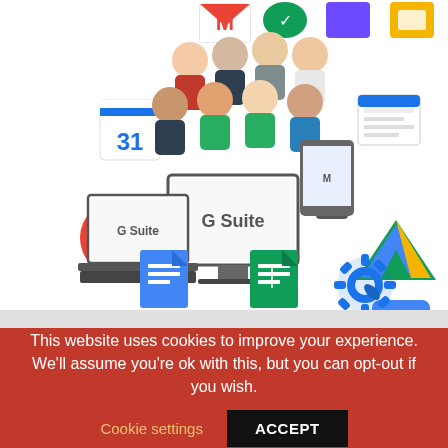[Figure (illustration): G Suite promotional illustration showing multiple Google app icons (Gmail, Calendar, Google+, Google Drive, Google Docs, Google Sheets, Google Slides, and others) arranged around a central monitor and laptop displaying 'G Suite', with a group of illustrated business people above the devices, and mobile devices to the right.]
This website uses cookies to improve your experience. We'll assume you're ok with this, but you can opt-out if you wish.
Cookie settings
ACCEPT